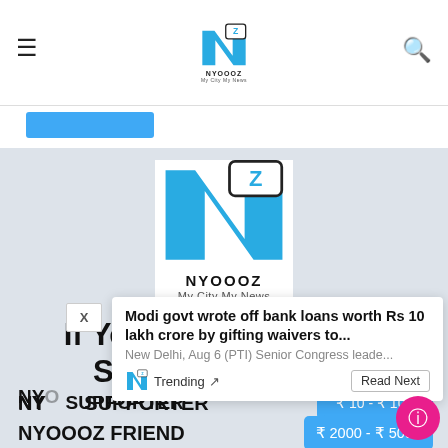NYOOOZ - My City My News
[Figure (logo): NYOOOZ logo with blue N shape and Z speech bubble, text 'NYOOOZ My City My News']
If You Like This Story, Support NYOOOZ
Modi govt wrote off bank loans worth Rs 10 lakh crore by gifting waivers to...
New Delhi, Aug 6 (PTI) Senior Congress leade...
Trending
Read Next
NYOOOZ SUPPORTER
₹ 10 - ₹ 1000
NYOOOZ FRIEND
₹ 2000 - ₹ 5000